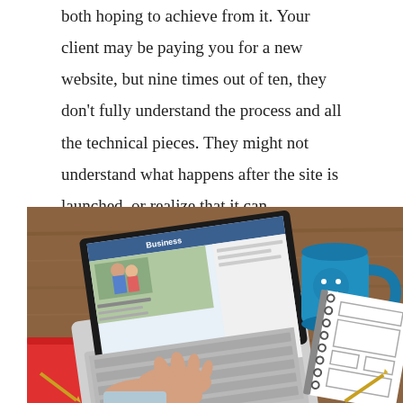both hoping to achieve from it. Your client may be paying you for a new website, but nine times out of ten, they don't fully understand the process and all the technical pieces. They might not understand what happens after the site is launched, or realize that it can significantly affect their bottom line.
[Figure (photo): Overhead view of a person's hand typing on a MacBook laptop on a wooden desk, with a blue coffee mug, a red notebook, and a spiral-bound wireframe sketchbook visible.]